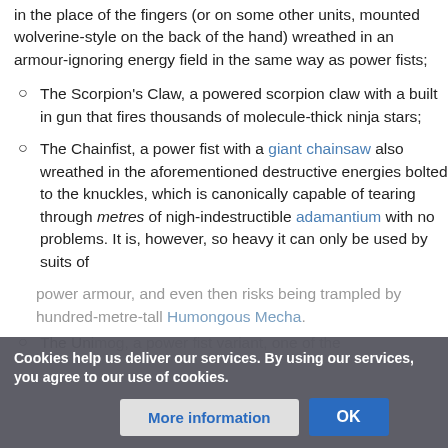in the place of the fingers (or on some other units, mounted wolverine-style on the back of the hand) wreathed in an armour-ignoring energy field in the same way as power fists;
The Scorpion's Claw, a powered scorpion claw with a built in gun that fires thousands of molecule-thick ninja stars;
The Chainfist, a power fist with a giant chainsaw also wreathed in the aforementioned destructive energies bolted to the knuckles, which is canonically capable of tearing through metres of nigh-indestructible adamantium with no problems. It is, however, so heavy it can only be used by suits of [armour] power armour, and even then risks being trampled by hundred-metre-tall Humongous Mecha.
The Uni[...] [...] of the
Cookies help us deliver our services. By using our services, you agree to our use of cookies.